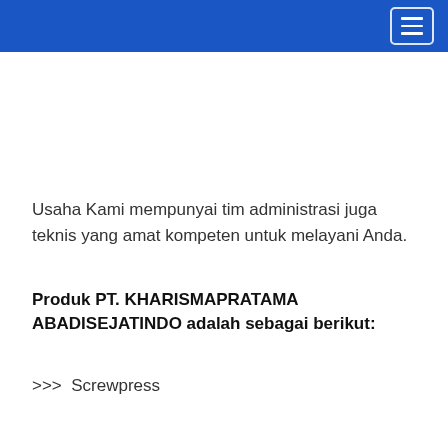Usaha Kami mempunyai tim administrasi juga teknis yang amat kompeten untuk melayani Anda.
Produk PT. KHARISMAPRATAMA ABADISEJATINDO adalah sebagai berikut:
>>> Screwpress